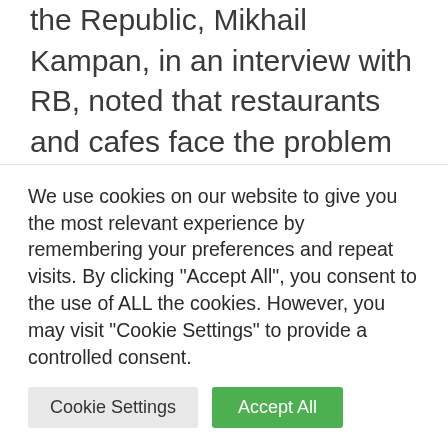the Republic, Mikhail Kampan, in an interview with RB, noted that restaurants and cafes face the problem of choosing a quality product.
“Not every one of them, be it meat, berries, fish or anything else, is suitable for preparing a delicious dish,” he says. – The task is to teach farmers how to produce raw materials for restaurants according to set standards. In
We use cookies on our website to give you the most relevant experience by remembering your preferences and repeat visits. By clicking “Accept All”, you consent to the use of ALL the cookies. However, you may visit "Cookie Settings" to provide a controlled consent.